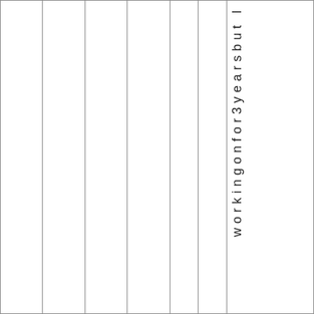|  |  |  |  |  |  | workingonfor3yearsbut l |
workingonfor3yearsbut l